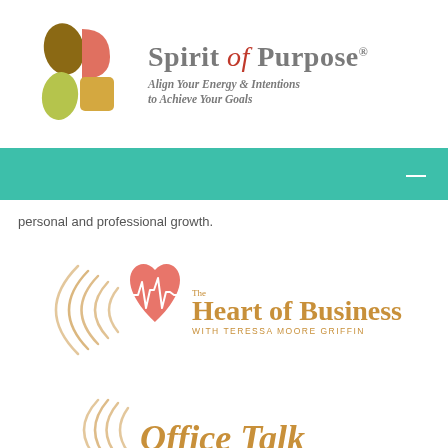[Figure (logo): Spirit of Purpose logo with S-shaped mark in brown, salmon, yellow-green and golden colors, and tagline 'Align Your Energy & Intentions to Achieve Your Goals']
[Figure (other): Teal/turquoise navigation bar with white dash/minus icon on the right]
personal and professional growth.
[Figure (logo): The Heart of Business with Teressa Moore Griffin logo - salmon/coral heart with heartbeat line and radio wave arcs in golden color]
[Figure (logo): Office Talk logo - partial view showing radio wave arcs and beginning of text in golden/orange color]